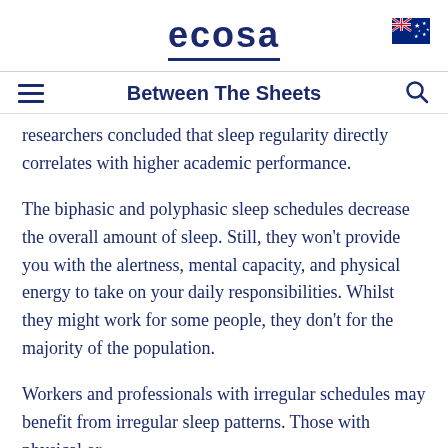ecosa
Between The Sheets
researchers concluded that sleep regularity directly correlates with higher academic performance.
The biphasic and polyphasic sleep schedules decrease the overall amount of sleep. Still, they won't provide you with the alertness, mental capacity, and physical energy to take on your daily responsibilities. Whilst they might work for some people, they don't for the majority of the population.
Workers and professionals with irregular schedules may benefit from irregular sleep patterns. Those with physical or